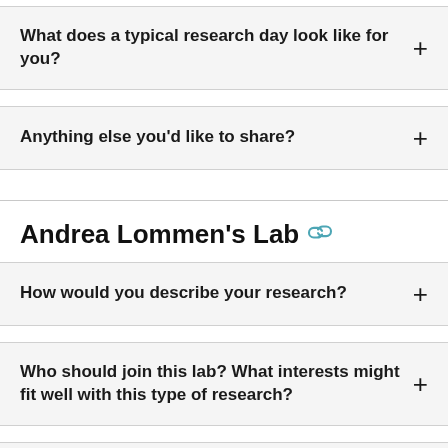What does a typical research day look like for you?
Anything else you'd like to share?
Andrea Lommen's Lab
How would you describe your research?
Who should join this lab? What interests might fit well with this type of research?
What does a typical research day look like for